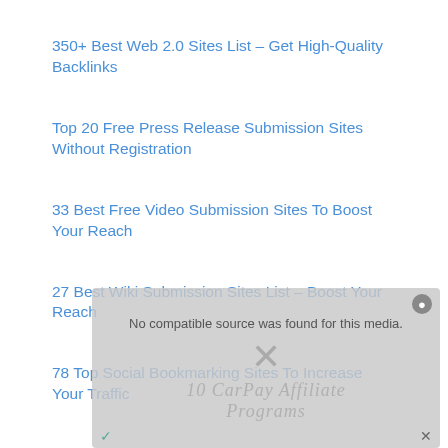350+ Best Web 2.0 Sites List – Get High-Quality Backlinks
Top 20 Free Press Release Submission Sites Without Registration
33 Best Free Video Submission Sites To Boost Your Reach
27 Best Wiki Submission Sites List – Boost Your Reach
78 Top Social Bookmarking Sites To Increase Your Traffic
125 Free Image Submission Sites To Get Quality Backlinks
[Figure (screenshot): Video player error overlay showing 'No compatible source was found for this media' with a watermark and close/dismiss controls]